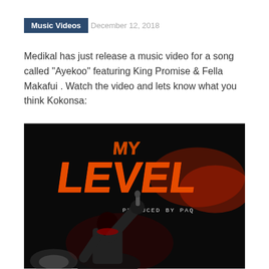Music Videos  December 12, 2018
Medikal has just release a music video for a song called "Ayekoo" featuring King Promise & Fella Makafui . Watch the video and lets know what you think Kokonsa:
[Figure (photo): Music video promotional image showing 'MY LEVEL' text in large orange fire-styled lettering against a dark background, with text 'PRODUCED BY PAQ' and a performer raising their fist below the title.]